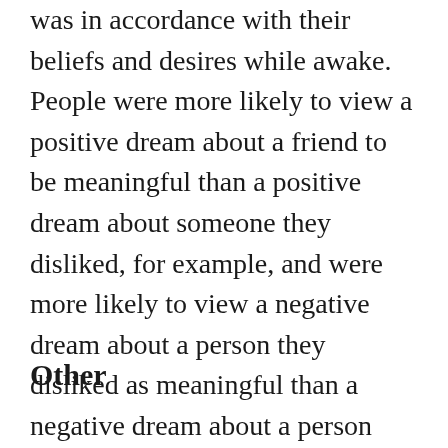was in accordance with their beliefs and desires while awake. People were more likely to view a positive dream about a friend to be meaningful than a positive dream about someone they disliked, for example, and were more likely to view a negative dream about a person they disliked as meaningful than a negative dream about a person they liked.
Other